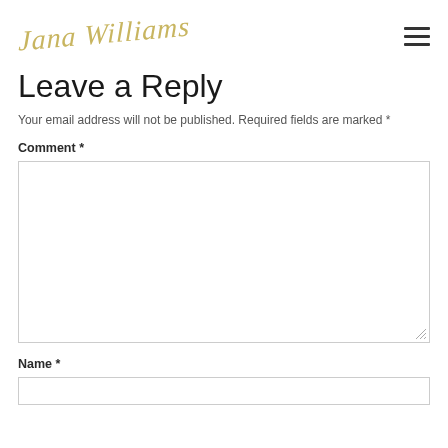Jana Williams
Leave a Reply
Your email address will not be published. Required fields are marked *
Comment *
Name *